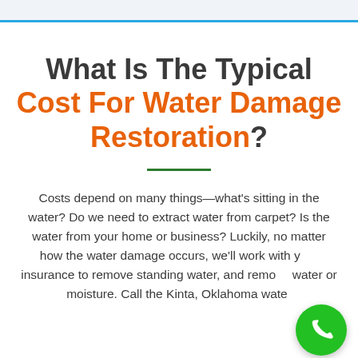What Is The Typical Cost For Water Damage Restoration?
Costs depend on many things—what's sitting in the water? Do we need to extract water from carpet? Is the water from your home or business? Luckily, no matter how the water damage occurs, we'll work with your insurance to remove standing water, and remove water or moisture. Call the Kinta, Oklahoma water